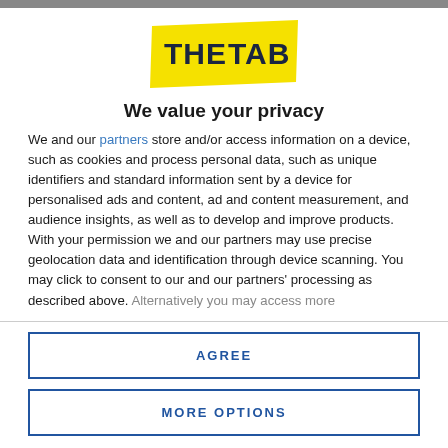[Figure (logo): The Tab logo — yellow banner with dark navy bold text 'THE TAB']
We value your privacy
We and our partners store and/or access information on a device, such as cookies and process personal data, such as unique identifiers and standard information sent by a device for personalised ads and content, ad and content measurement, and audience insights, as well as to develop and improve products. With your permission we and our partners may use precise geolocation data and identification through device scanning. You may click to consent to our and our partners' processing as described above. Alternatively you may access more
AGREE
MORE OPTIONS
than on, the card is all you need